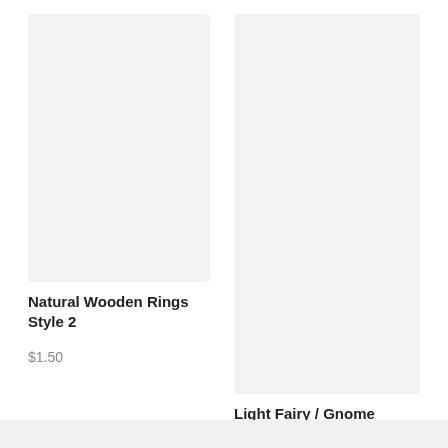[Figure (photo): Product image placeholder for Natural Wooden Rings Style 2 — light gray rectangle]
Natural Wooden Rings Style 2
$1.50
[Figure (photo): Product image placeholder for Light Fairy / Gnome House for Pretend Play — light gray rectangle]
Light Fairy / Gnome House for Pretend Play
$34.50